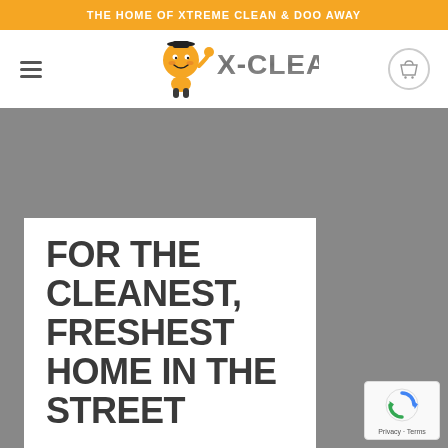THE HOME OF XTREME CLEAN & DOO AWAY
[Figure (logo): X-Clean brand logo with orange mascot character holding thumbs up next to metallic X-CLEAN text]
FOR THE CLEANEST, FRESHEST HOME IN THE STREET
Bring your home to life with New Zealand's strongest Citrus cleaner